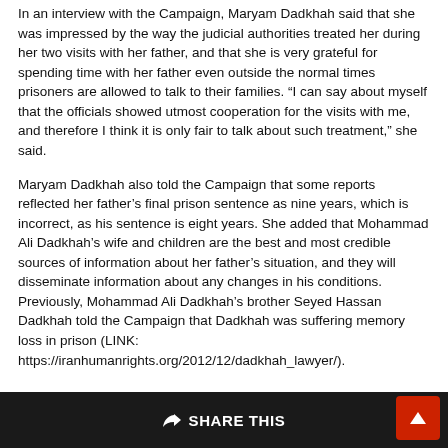In an interview with the Campaign, Maryam Dadkhah said that she was impressed by the way the judicial authorities treated her during her two visits with her father, and that she is very grateful for spending time with her father even outside the normal times prisoners are allowed to talk to their families. “I can say about myself that the officials showed utmost cooperation for the visits with me, and therefore I think it is only fair to talk about such treatment,” she said.
Maryam Dadkhah also told the Campaign that some reports reflected her father’s final prison sentence as nine years, which is incorrect, as his sentence is eight years. She added that Mohammad Ali Dadkhah’s wife and children are the best and most credible sources of information about her father’s situation, and they will disseminate information about any changes in his conditions. Previously, Mohammad Ali Dadkhah’s brother Seyed Hassan Dadkhah told the Campaign that Dadkhah was suffering memory loss in prison (LINK: https://iranhumanrights.org/2012/12/dadkhah_lawyer/).
SHARE THIS